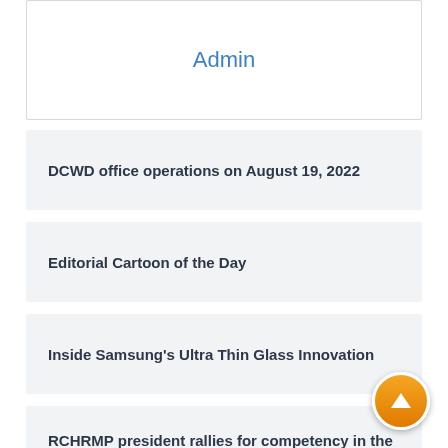Admin
DCWD office operations on August 19, 2022
Editorial Cartoon of the Day
Inside Samsung's Ultra Thin Glass Innovation
RCHRMP president rallies for competency in the gov't workforce